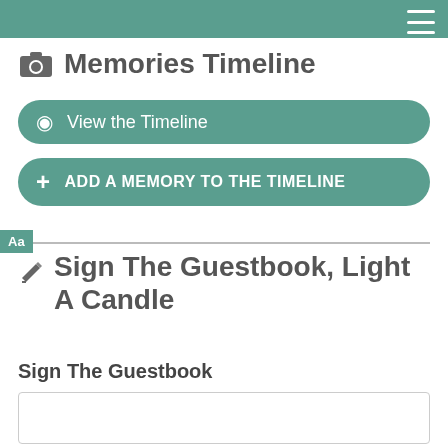Memories Timeline
View the Timeline
ADD A MEMORY TO THE TIMELINE
Sign The Guestbook, Light A Candle
Sign The Guestbook